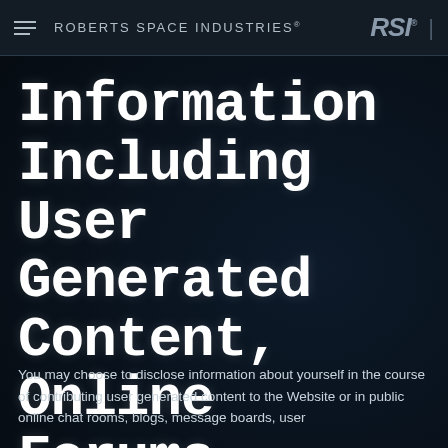ROBERTS SPACE INDUSTRIES®
Information Including User Generated Content, Online Forums, Blogs and Profiles
You may choose to disclose information about yourself in the course of contributing user generated content to the Website or in public online chat rooms, blogs, message boards, user